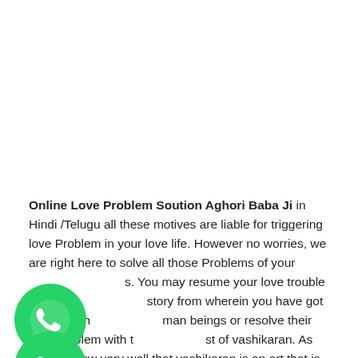Online Love Problem Soution Aghori Baba Ji in Hindi /Telugu all these motives are liable for triggering love Problem in your love life. However no worries, we are right here to solve all those Problems of your [life]. You may resume your love trouble solution [s]tory from wherein you have got left it. We h[elp] man beings or resolve their love Problem with t[he as]sist of vashikaran. As you all know very well that vashikaran is an art that is used for controlling th[e thoughts of a person att]ribute ...
[Figure (logo): WhatsApp icon - green circle with white phone handset speech bubble logo]
[Figure (logo): Phone/call icon - green circle with white phone handset logo]